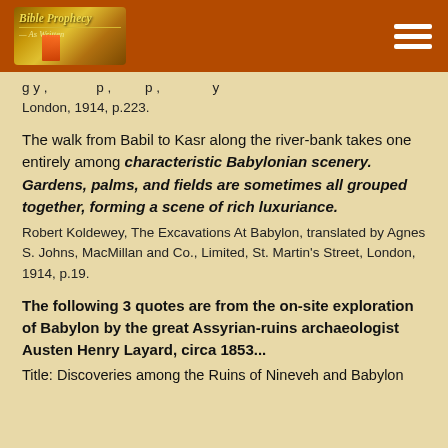Bible Prophecy As Written
g y , p , p , y London, 1914, p.223.
The walk from Babil to Kasr along the river-bank takes one entirely among characteristic Babylonian scenery. Gardens, palms, and fields are sometimes all grouped together, forming a scene of rich luxuriance.
Robert Koldewey, The Excavations At Babylon, translated by Agnes S. Johns, MacMillan and Co., Limited, St. Martin's Street, London, 1914, p.19.
The following 3 quotes are from the on-site exploration of Babylon by the great Assyrian-ruins archaeologist Austen Henry Layard, circa 1853...
Title: Discoveries among the Ruins of Nineveh and Babylon